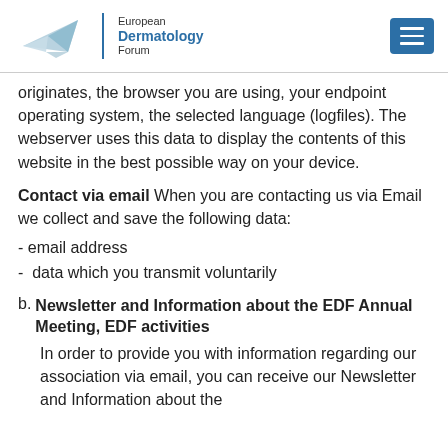European Dermatology Forum
originates, the browser you are using, your endpoint operating system, the selected language (logfiles). The webserver uses this data to display the contents of this website in the best possible way on your device.
Contact via email When you are contacting us via Email we collect and save the following data:
- email address
-  data which you transmit voluntarily
b. Newsletter and Information about the EDF Annual Meeting, EDF activities
In order to provide you with information regarding our association via email, you can receive our Newsletter and Information about the